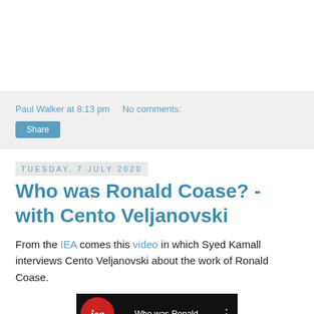Paul Walker at 8:13 pm   No comments:
Share
Tuesday, 7 July 2020
Who was Ronald Coase? - with Cento Veljanovski
From the IEA comes this video in which Syed Kamall interviews Cento Veljanovski about the work of Ronald Coase.
[Figure (screenshot): Video thumbnail showing IEA logo and title 'Who was Ronald Coase ...' on dark background]